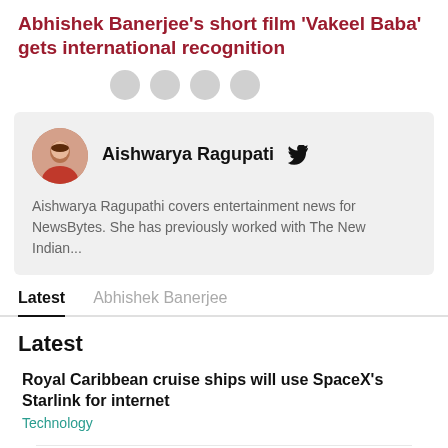Abhishek Banerjee's short film 'Vakeel Baba' gets international recognition
[Figure (other): Social sharing icons row (4 circular grey buttons)]
[Figure (photo): Circular author photo of Aishwarya Ragupati]
Aishwarya Ragupati  [Twitter icon]
Aishwarya Ragupathi covers entertainment news for NewsBytes. She has previously worked with The New Indian...
Latest    Abhishek Banerjee
Latest
Royal Caribbean cruise ships will use SpaceX's Starlink for internet
Technology
Redmi A1 teased in India; coming around Diwali: Check specifications
Technology